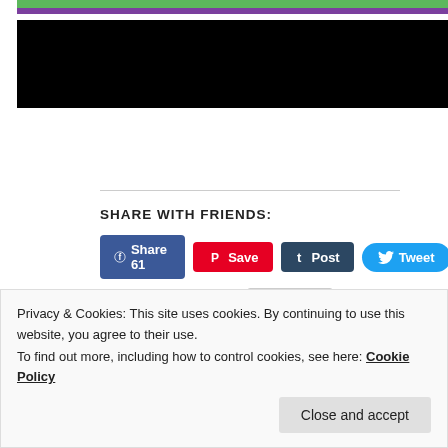[Figure (other): Top area with green bar, purple bar, and black rectangular block (redacted/blurred content area)]
SHARE WITH FRIENDS:
[Figure (infographic): Social share buttons row 1: Facebook Share 61, Pinterest Save, Tumblr Post, Twitter Tweet]
[Figure (infographic): Social share buttons row 2: LinkedIn Share, Email]
Loading...
Posted in Key Lessons | Tagged best exercises to start clicker training horse, calm horse, calming exercise, default behaviour, foundation lesson, HippoLogic, how to start clicker training
Privacy & Cookies: This site uses cookies. By continuing to use this website, you agree to their use.
To find out more, including how to control cookies, see here: Cookie Policy
Close and accept